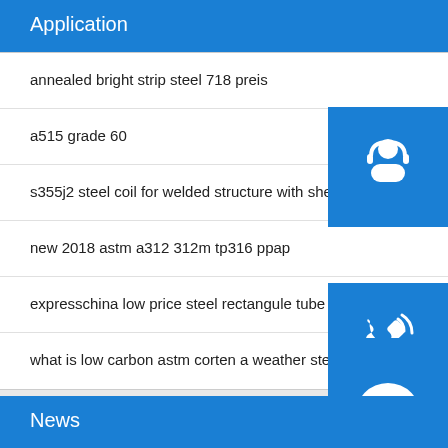Application
annealed bright strip steel 718 preis
a515 grade 60
s355j2 steel coil for welded structure with shear edges
new 2018 astm a312 312m tp316 ppap
expresschina low price steel rectangule tube
what is low carbon astm corten a weather steel corten plate
News